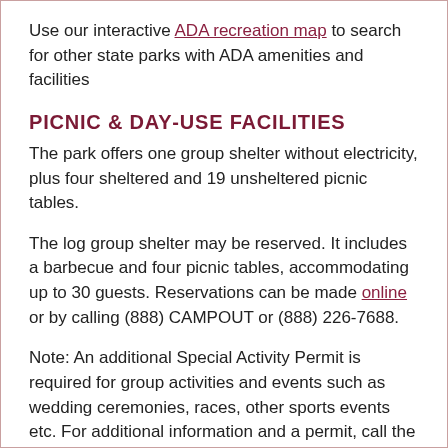Use our interactive ADA recreation map to search for other state parks with ADA amenities and facilities
PICNIC & DAY-USE FACILITIES
The park offers one group shelter without electricity, plus four sheltered and 19 unsheltered picnic tables.
The log group shelter may be reserved. It includes a barbecue and four picnic tables, accommodating up to 30 guests. Reservations can be made online or by calling (888) CAMPOUT or (888) 226-7688.
Note: An additional Special Activity Permit is required for group activities and events such as wedding ceremonies, races, other sports events etc. For additional information and a permit, call the park at (360) 678-4519 or send an email.
ACTIVITIES